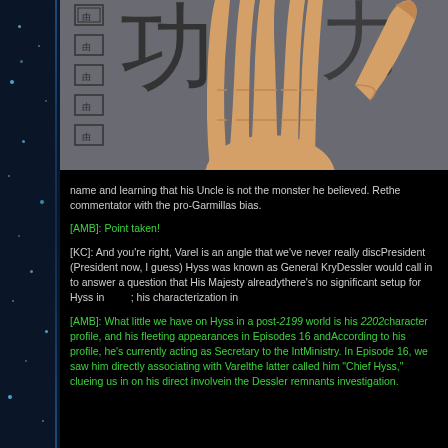[Figure (illustration): Anime-style illustration showing a large alien hand/claw with a grey background with kanji-like characters]
name and learning that his Uncle is not the monster he believed. Re... the commentator with the pro-Garmillas bias.
[AMB]: Point taken!
[KC]: And you're right, Varel is an angle that we've never really disc... President (President now, I guess) Hyss was known as General Kry... Dessler would call in to answer a question that His Majesty already... there's no significant setup for Hyss in 2202; his characterization in
[AMB]: What little we have on Hyss in a post-2199 world is his 2202... character profile, and his fleeting appearances in Episodes 16 and... According to his profile, he's currently acting as Secretary to the Int... Ministry. In Episode 16, we saw him directly associating with Varel... the latter called him "Chief Hyss," clueing us in on his direct involve... in the Dessler remnants investigation.